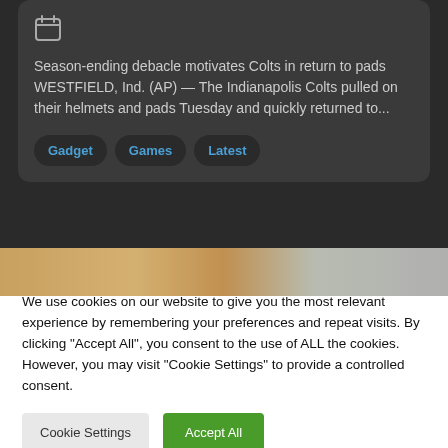[Figure (screenshot): Calendar icon (dark gray outline of a calendar on dark background)]
Season-ending debacle motivates Colts in return to pads WESTFIELD, Ind. (AP) — The Indianapolis Colts pulled on their helmets and pads Tuesday and quickly returned to...
Gadget
Games
Latest
[Figure (photo): Partial photo strip showing a person's face/head, cropped]
We use cookies on our website to give you the most relevant experience by remembering your preferences and repeat visits. By clicking "Accept All", you consent to the use of ALL the cookies. However, you may visit "Cookie Settings" to provide a controlled consent.
Cookie Settings
Accept All